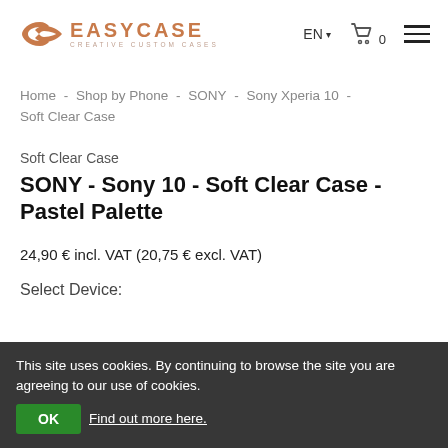[Figure (logo): EasyCase Creative Custom Cases logo with interlocking C icon in copper/orange color]
EN ▾
[Figure (illustration): Shopping cart icon with 0 items]
[Figure (illustration): Hamburger menu icon (three horizontal lines)]
Home - Shop by Phone - SONY - Sony Xperia 10 - Soft Clear Case
Soft Clear Case
SONY - Sony 10 - Soft Clear Case - Pastel Palette
24,90 € incl. VAT (20,75 € excl. VAT)
Select Device:
This site uses cookies. By continuing to browse the site you are agreeing to our use of cookies.  OK  Find out more here.